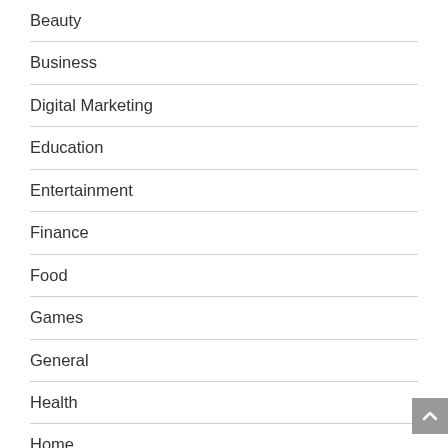Beauty
Business
Digital Marketing
Education
Entertainment
Finance
Food
Games
General
Health
Home
Home appliances